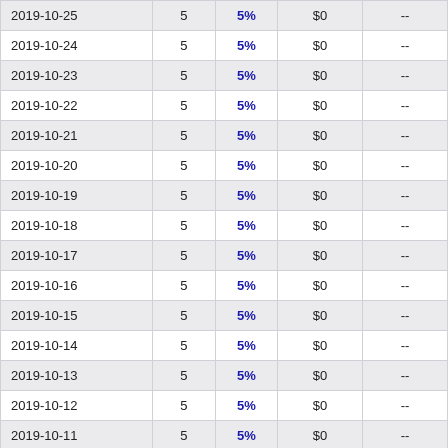| 2019-10-25 | 5 | 5% | $0 | -- |
| 2019-10-24 | 5 | 5% | $0 | -- |
| 2019-10-23 | 5 | 5% | $0 | -- |
| 2019-10-22 | 5 | 5% | $0 | -- |
| 2019-10-21 | 5 | 5% | $0 | -- |
| 2019-10-20 | 5 | 5% | $0 | -- |
| 2019-10-19 | 5 | 5% | $0 | -- |
| 2019-10-18 | 5 | 5% | $0 | -- |
| 2019-10-17 | 5 | 5% | $0 | -- |
| 2019-10-16 | 5 | 5% | $0 | -- |
| 2019-10-15 | 5 | 5% | $0 | -- |
| 2019-10-14 | 5 | 5% | $0 | -- |
| 2019-10-13 | 5 | 5% | $0 | -- |
| 2019-10-12 | 5 | 5% | $0 | -- |
| 2019-10-11 | 5 | 5% | $0 | -- |
| 2019-10-10 | 5 | 5% | $0 | -- |